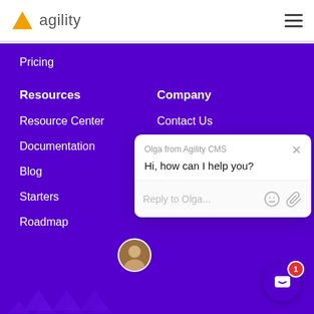agility
Pricing
Resources
Resource Center
Documentation
Blog
Starters
Roadmap
Company
Contact Us
[Figure (screenshot): Chat widget popup from Olga from Agility CMS saying 'Hi, how can I help you?' with a reply input box]
[Figure (illustration): Purple circular chat button with white chat bubble icon and red badge showing '1']